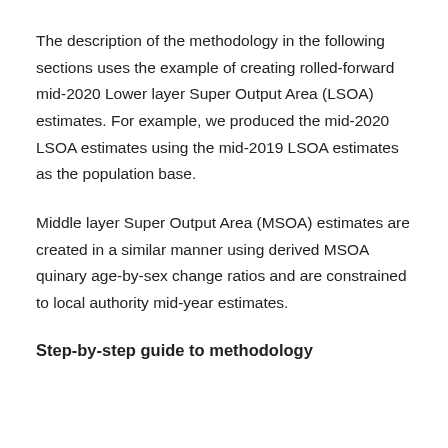The description of the methodology in the following sections uses the example of creating rolled-forward mid-2020 Lower layer Super Output Area (LSOA) estimates. For example, we produced the mid-2020 LSOA estimates using the mid-2019 LSOA estimates as the population base.
Middle layer Super Output Area (MSOA) estimates are created in a similar manner using derived MSOA quinary age-by-sex change ratios and are constrained to local authority mid-year estimates.
Step-by-step guide to methodology